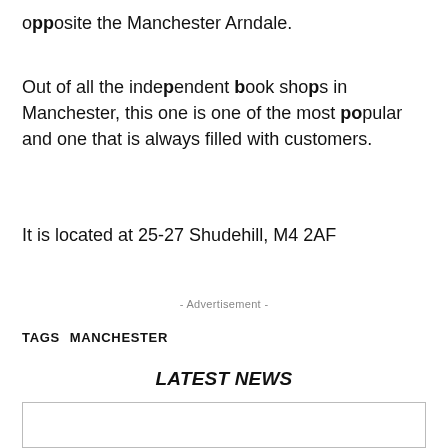opposite the Manchester Arndale.
Out of all the independent book shops in Manchester, this one is one of the most popular and one that is always filled with customers.
It is located at 25-27 Shudehill, M4 2AF
- Advertisement -
TAGS   MANCHESTER
LATEST NEWS